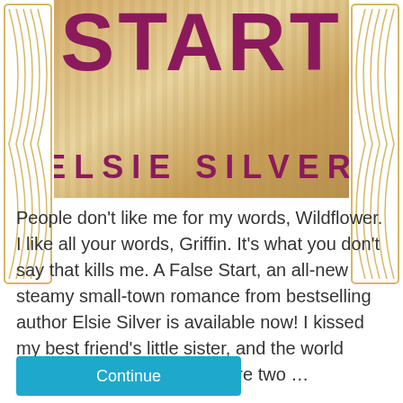[Figure (photo): Book cover showing 'A FALSE START' by ELSIE SILVER with gold/warm background tones, large purple/magenta title text and author name]
People don't like me for my words, Wildflower. I like all your words, Griffin. It's what you don't say that kills me. A False Start, an all-new steamy small-town romance from bestselling author Elsie Silver is available now! I kissed my best friend's little sister, and the world stood still. That night we were two ...
Continue